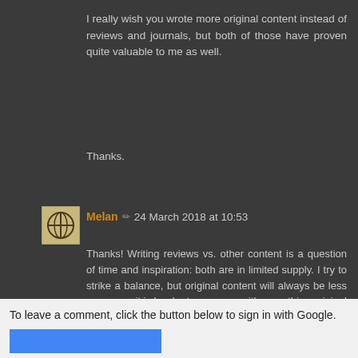I really wish you wrote more original content instead of reviews and journals, but both of those have proven quite valuable to me as well.
Thanks.
Melan ✏ 24 March 2018 at 10:53
Thanks! Writing reviews vs. other content is a question of time and inspiration: both are in limited supply. I try to strike a balance, but original content will always be less common - it is harder to come up with something original than to react to a released product.
Reply
To leave a comment, click the button below to sign in with Google.